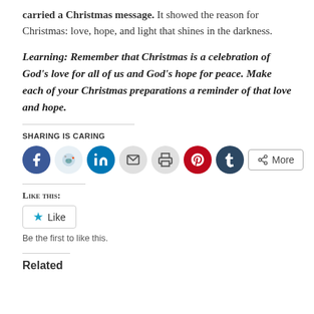carried a Christmas message.  It showed the reason for Christmas:  love, hope, and light that shines in the darkness.
Learning:  Remember that Christmas is a celebration of God's love for all of us and God's hope for peace.  Make each of your Christmas preparations a reminder of that love and hope.
Sharing is Caring
[Figure (infographic): Row of social media sharing icon buttons: Facebook (blue circle), Reddit (light blue circle), LinkedIn (teal circle), Email (gray circle), Print (gray circle), Pinterest (red circle), Tumblr (dark navy circle), and a More button with a share icon.]
Like this:
[Figure (infographic): A Like button with a teal star icon and the text 'Like', followed by text 'Be the first to like this.']
Related